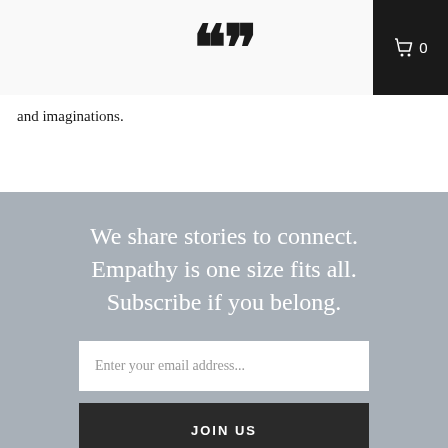logo / quote mark icon
and imaginations.
We share stories to connect. Empathy is one size fits all. Subscribe if you belong.